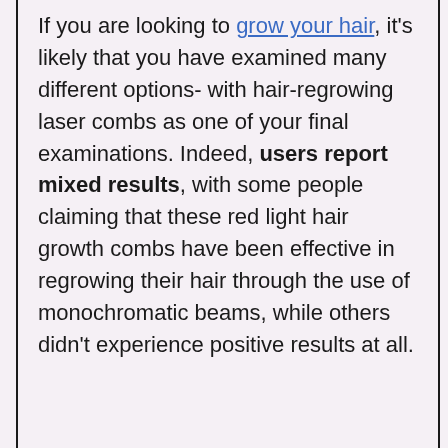If you are looking to grow your hair, it's likely that you have examined many different options- with hair-regrowing laser combs as one of your final examinations. Indeed, users report mixed results, with some people claiming that these red light hair growth combs have been effective in regrowing their hair through the use of monochromatic beams, while others didn't experience positive results at all.